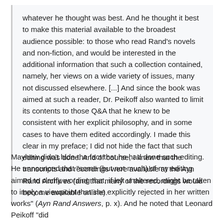whatever he thought was best. And he thought it best to make this material available to the broadest audience possible: to those who read Rand's novels and non-fiction, and would be interested in the additional information that such a collection contained, namely, her views on a wide variety of issues, many not discussed elsewhere. [...] And since the book was aimed at such a reader, Dr. Peikoff also wanted to limit its contents to those Q&A that he knew to be consistent with her explicit philosophy, and in some cases to have them edited accordingly. I made this clear in my preface; I did not hide the fact that such editing was done. And of course, I knew that the transcripts and recordings were available at the Ayn Rand Archives (and that many of the recordings would become available online).
Mayhew didn't hide the fact that he had done such editing. He announced that "some (but not much) of my editing aimed to clarify wording that, if left unaltered, might be taken to imply a viewpoint that she explicitly rejected in her written works" (Ayn Rand Answers, p. x). And he noted that Leonard Peikoff "did